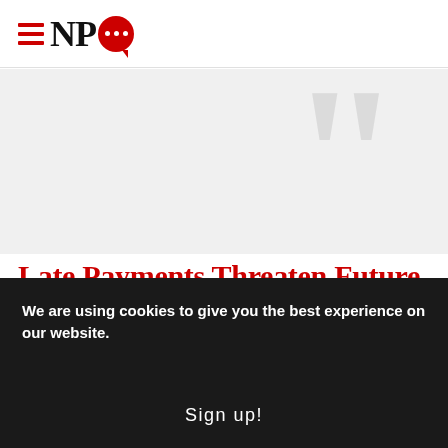NPQ (Nonprofit Quarterly) logo with hamburger menu icon
[Figure (illustration): Light gray decorative quotation mark graphic on white/light gray background]
Late Payments Threaten Future of Pivotal Legal Agency
June 2, 2010; BBC News | In the UK a legal aid
We are using cookies to give you the best experience on our website.
Sign up!